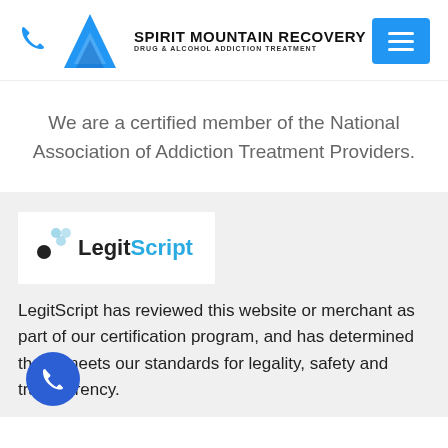Spirit Mountain Recovery — Drug & Alcohol Addiction Treatment
We are a certified member of the National Association of Addiction Treatment Providers.
[Figure (logo): LegitScript logo with colored dots and text]
LegitScript has reviewed this website or merchant as part of our certification program, and has determined that it meets our standards for legality, safety and transparency.